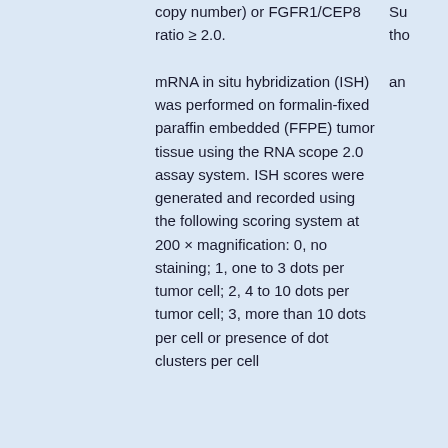copy number) or FGFR1/CEP8 ratio ≥ 2.0.
mRNA in situ hybridization (ISH) was performed on formalin-fixed paraffin embedded (FFPE) tumor tissue using the RNA scope 2.0 assay system. ISH scores were generated and recorded using the following scoring system at 200 × magnification: 0, no staining; 1, one to 3 dots per tumor cell; 2, 4 to 10 dots per tumor cell; 3, more than 10 dots per cell or presence of dot clusters per cell
Su tho an